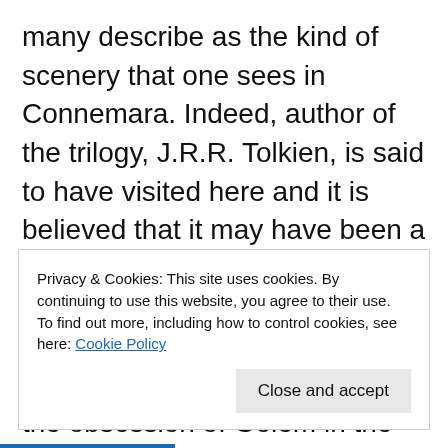many describe as the kind of scenery that one sees in Connemara. Indeed, author of the trilogy, J.R.R. Tolkien, is said to have visited here and it is believed that it may have been a source of inspiration for his books. But here today there are no goblins, orcs, wizards, hobbits or talking trees, but like the obsession of Golem in the movies, there is something precious. There are 25 real–life heroes undertaking a task unimaginable to most mere
Privacy & Cookies: This site uses cookies. By continuing to use this website, you agree to their use.
To find out more, including how to control cookies, see here: Cookie Policy